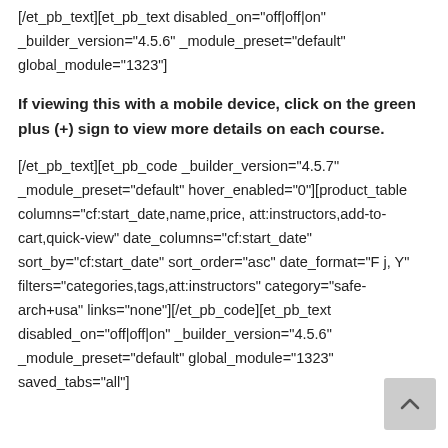[/et_pb_text][et_pb_text disabled_on="off|off|on" _builder_version="4.5.6" _module_preset="default" global_module="1323"]
If viewing this with a mobile device, click on the green plus (+) sign to view more details on each course.
[/et_pb_text][et_pb_code _builder_version="4.5.7" _module_preset="default" hover_enabled="0"][product_table columns="cf:start_date,name,price, att:instructors,add-to-cart,quick-view" date_columns="cf:start_date" sort_by="cf:start_date" sort_order="asc" date_format="F j, Y" filters="categories,tags,att:instructors" category="safe-arch+usa" links="none"][/et_pb_code][et_pb_text disabled_on="off|off|on" _builder_version="4.5.6" _module_preset="default" global_module="1323" saved_tabs="all"]